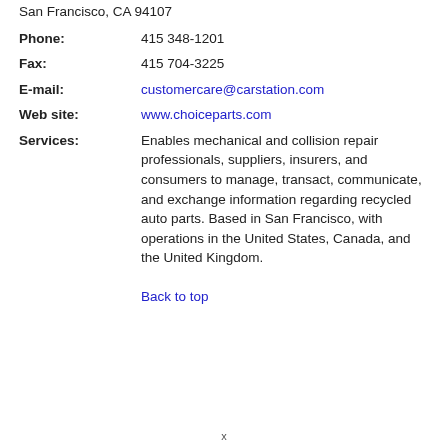San Francisco, CA 94107
Phone: 415 348-1201
Fax: 415 704-3225
E-mail: customercare@carstation.com
Web site: www.choiceparts.com
Services: Enables mechanical and collision repair professionals, suppliers, insurers, and consumers to manage, transact, communicate, and exchange information regarding recycled auto parts. Based in San Francisco, with operations in the United States, Canada, and the United Kingdom.
Back to top
x